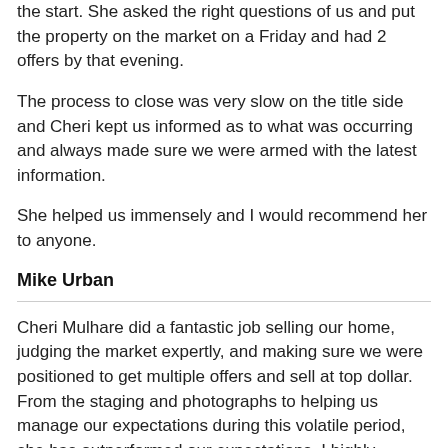the start. She asked the right questions of us and put the property on the market on a Friday and had 2 offers by that evening.
The process to close was very slow on the title side and Cheri kept us informed as to what was occurring and always made sure we were armed with the latest information.
She helped us immensely and I would recommend her to anyone.
Mike Urban
Cheri Mulhare did a fantastic job selling our home, judging the market expertly, and making sure we were positioned to get multiple offers and sell at top dollar. From the staging and photographs to helping us manage our expectations during this volatile period, she has outperformed our expectations. I highly recommend her expertise to anyone looking to buy or sell in Millbrook.